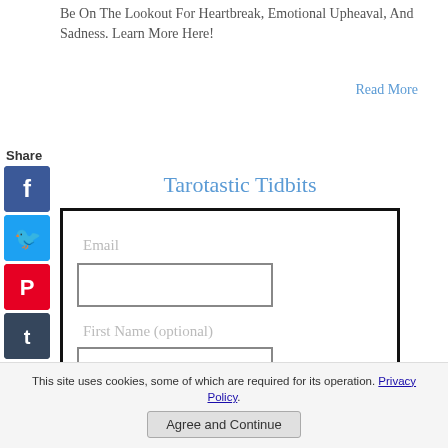Be On The Lookout For Heartbreak, Emotional Upheaval, And Sadness. Learn More Here!
Read More
Share
[Figure (other): Social media share icons: Facebook, Twitter, Pinterest, Tumblr, Reddit, WhatsApp, and a forward/share icon arranged vertically on the left sidebar]
Tarotastic Tidbits
Email
First Name (optional)
This site uses cookies, some of which are required for its operation. Privacy Policy.
Agree and Continue